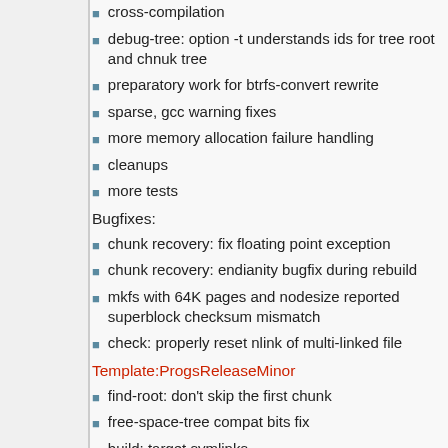cross-compilation
debug-tree: option -t understands ids for tree root and chnuk tree
preparatory work for btrfs-convert rewrite
sparse, gcc warning fixes
more memory allocation failure handling
cleanups
more tests
Bugfixes:
chunk recovery: fix floating point exception
chunk recovery: endianity bugfix during rebuild
mkfs with 64K pages and nodesize reported superblock checksum mismatch
check: properly reset nlink of multi-linked file
Template:ProgsReleaseMinor
find-root: don't skip the first chunk
free-space-tree compat bits fix
build: target symlinks
documentation updates
test updates